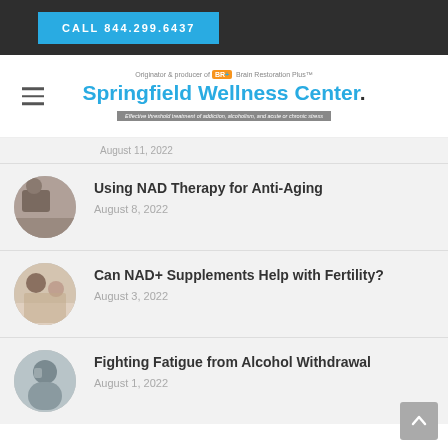CALL 844.299.6437
[Figure (logo): Springfield Wellness Center logo with BR+ Brain Restoration Plus tagline and subtitle about effective treatment of addiction, alcoholism, and acute or chronic stress]
August 11, 2022
Using NAD Therapy for Anti-Aging — August 8, 2022
Can NAD+ Supplements Help with Fertility? — August 3, 2022
Fighting Fatigue from Alcohol Withdrawal — August 1, 2022